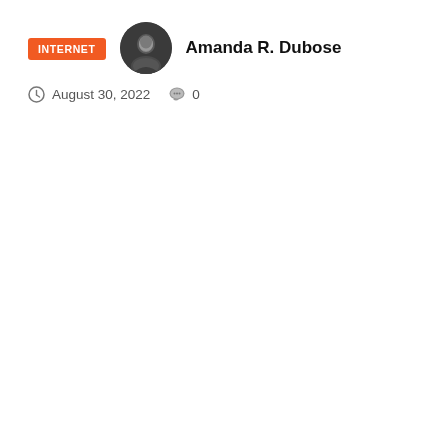INTERNET
[Figure (photo): Circular avatar photo of a young man in dark clothing against a dark background]
Amanda R. Dubose
August 30, 2022   0